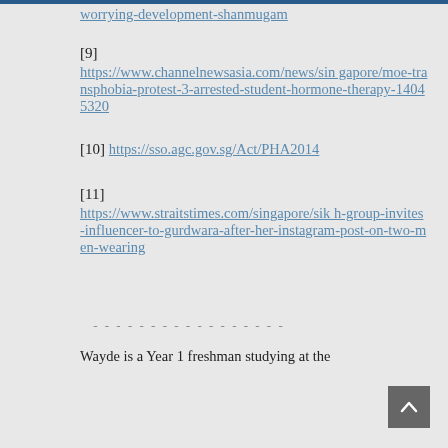[9] https://www.channelnewsasia.com/news/singapore/moe-transphobia-protest-3-arrested-student-hormone-therapy-14045320
[10] https://sso.agc.gov.sg/Act/PHA2014
[11] https://www.straitstimes.com/singapore/sikh-group-invites-influencer-to-gurdwara-after-her-instagram-post-on-two-men-wearing
- - - - - - - - - - - - - - - - -
Wayde is a Year 1 freshman studying at the